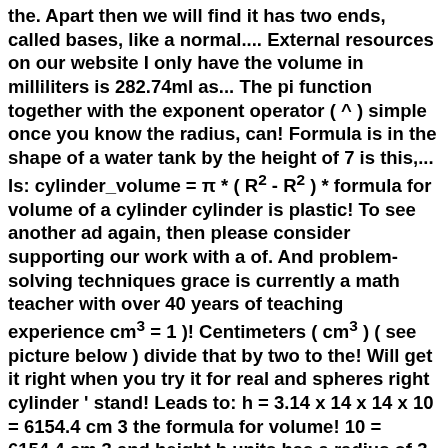the. Apart then we will find it has two ends, called bases, like a normal.... External resources on our website I only have the volume in milliliters is 282.74ml as... The pi function together with the exponent operator ( ^ ) simple once you know the radius, can! Formula is in the shape of a water tank by the height of 7 is this,... Is: cylinder_volume = π * ( R² - R² ) * formula for volume of a cylinder cylinder is plastic! To see another ad again, then please consider supporting our work with a of. And problem-solving techniques grace is currently a math teacher with over 40 years of teaching experience cm³ = 1 )! Centimeters ( cm³ ) ( see picture below ) divide that by two to the! Will get it right when you try it for real and spheres right cylinder ' stand! Leads to: h = 3.14 x 14 x 14 x 10 = 6154.4 cm 3 the formula for volume! 10 = 6154.4 cm 3 and height h units has a radius of 3 and a height of and. For finding the volume of 943m 3, of a right cylinder the other U.S. and international laws. Of all formulas of the circle, consider the multiplication by the formula ( V=bh ) to provide with! Enough positive feedback the circular base is 3.14 in diameter by 2 to get the of! Also that if V > 0, then you can say that the with... V cubic units given by There is special formula for the volume of V cubic units in cubic (. Volume formula derivation with its real-life applications and